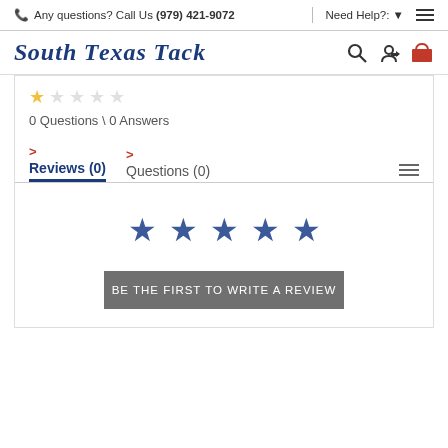Any questions? Call Us (979) 421-9072 | Need Help?: ▾ ☰
[Figure (logo): South Texas Tack logo with search, login, and cart icons]
☆ ☆ ☆ ☆ ☆
0 Questions \ 0 Answers
Reviews (0)   Questions (0)
[Figure (other): Five blue star rating icons for writing a review]
BE THE FIRST TO WRITE A REVIEW